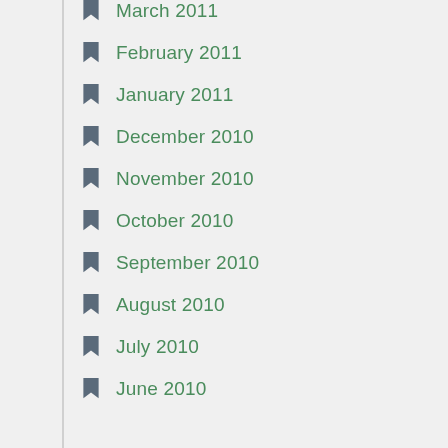March 2011
February 2011
January 2011
December 2010
November 2010
October 2010
September 2010
August 2010
July 2010
June 2010